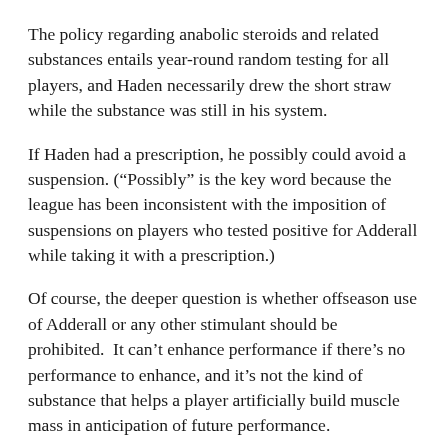The policy regarding anabolic steroids and related substances entails year-round random testing for all players, and Haden necessarily drew the short straw while the substance was still in his system.
If Haden had a prescription, he possibly could avoid a suspension. (“Possibly” is the key word because the league has been inconsistent with the imposition of suspensions on players who tested positive for Adderall while taking it with a prescription.)
Of course, the deeper question is whether offseason use of Adderall or any other stimulant should be prohibited.  It can’t enhance performance if there’s no performance to enhance, and it’s not the kind of substance that helps a player artificially build muscle mass in anticipation of future performance.
Because Haden’s period for filing an appeal have not yet commenced, he could avoid a suspension for most if not all of the 2012 season.  The NFL’s in-house appeals often require months to